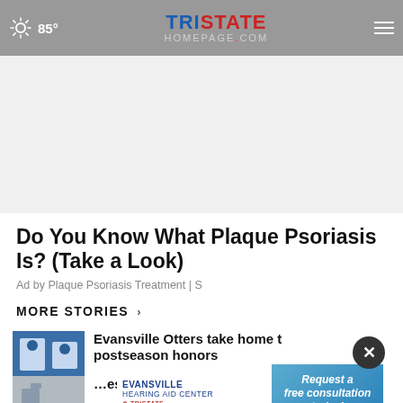85° | TristateHomepage.com
Do You Know What Plaque Psoriasis Is? (Take a Look)
Ad by Plaque Psoriasis Treatment | S
MORE STORIES ›
Evansville Otters take home the postseason honors
Request a free consultation today!